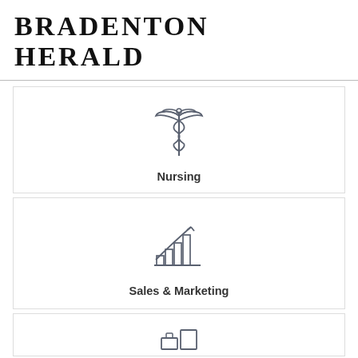BRADENTON HERALD
[Figure (illustration): Caduceus medical symbol icon in gray, with wings at top and two snakes intertwined around a staff]
Nursing
[Figure (illustration): Bar chart with upward trending arrow icon in gray, representing Sales & Marketing]
Sales & Marketing
[Figure (illustration): Partially visible icon at bottom of page, appears to be a gear or tools icon in gray]